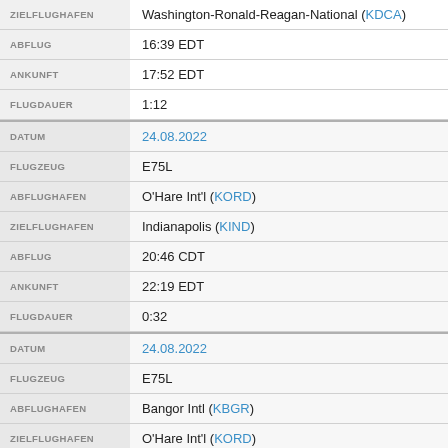| Field | Value |
| --- | --- |
| ZIELFLUGHAFEN | Washington-Ronald-Reagan-National (KDCA) |
| ABFLUG | 16:39 EDT |
| ANKUNFT | 17:52 EDT |
| FLUGDAUER | 1:12 |
| DATUM | 24.08.2022 |
| FLUGZEUG | E75L |
| ABFLUGHAFEN | O'Hare Int'l (KORD) |
| ZIELFLUGHAFEN | Indianapolis (KIND) |
| ABFLUG | 20:46 CDT |
| ANKUNFT | 22:19 EDT |
| FLUGDAUER | 0:32 |
| DATUM | 24.08.2022 |
| FLUGZEUG | E75L |
| ABFLUGHAFEN | Bangor Intl (KBGR) |
| ZIELFLUGHAFEN | O'Hare Int'l (KORD) |
| ABFLUG | 17:55 EDT |
| ANKUNFT | 19:08 CDT |
| FLUGDAUER | 2:12 |
| DATUM | 24.08.2022 |
| FLUGZEUG | E75L |